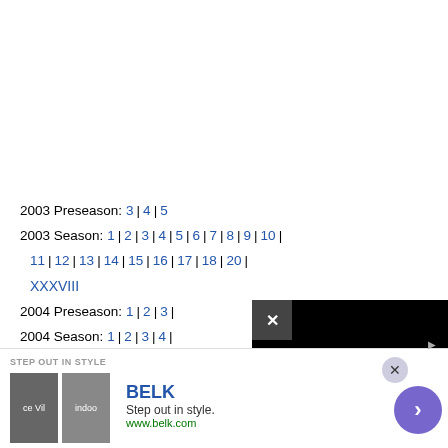2003 Preseason: 3 | 4 | 5
2003 Season: 1 | 2 | 3 | 4 | 5 | 6 | 7 | 8 | 9 | 10 | 11 | 12 | 13 | 14 | 15 | 16 | 17 | 18 | 20 | XXXVIII
2004 Preseason: 1 | 2 | 3 | ...
2004 Season: 1 | 2 | 3 | 4 | 11 | 12 | 13 | 14 | 15 | ... XXXIX
[Figure (screenshot): Black video player overlay with close button (X) and circular play indicator]
[Figure (photo): Belk advertisement banner: Step out in style. www.belk.com with fashion images and purple arrow button]